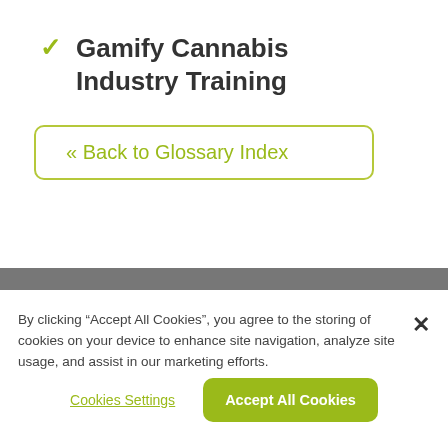✓ Gamify Cannabis Industry Training
« Back to Glossary Index
By clicking "Accept All Cookies", you agree to the storing of cookies on your device to enhance site navigation, analyze site usage, and assist in our marketing efforts.
Cookies Settings
Accept All Cookies